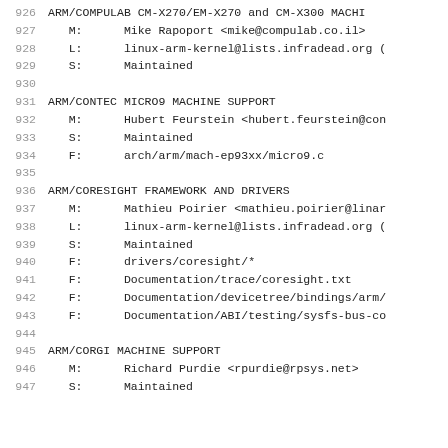926  ARM/COMPULAB CM-X270/EM-X270 and CM-X300 MACHI...
927    M:      Mike Rapoport <mike@compulab.co.il>
928    L:      linux-arm-kernel@lists.infradead.org (
929    S:      Maintained
930
931  ARM/CONTEC MICRO9 MACHINE SUPPORT
932    M:      Hubert Feurstein <hubert.feurstein@con...
933    S:      Maintained
934    F:      arch/arm/mach-ep93xx/micro9.c
935
936  ARM/CORESIGHT FRAMEWORK AND DRIVERS
937    M:      Mathieu Poirier <mathieu.poirier@linar...
938    L:      linux-arm-kernel@lists.infradead.org (
939    S:      Maintained
940    F:      drivers/coresight/*
941    F:      Documentation/trace/coresight.txt
942    F:      Documentation/devicetree/bindings/arm/
943    F:      Documentation/ABI/testing/sysfs-bus-co
944
945  ARM/CORGI MACHINE SUPPORT
946    M:      Richard Purdie <rpurdie@rpsys.net>
947    S:      Maintained